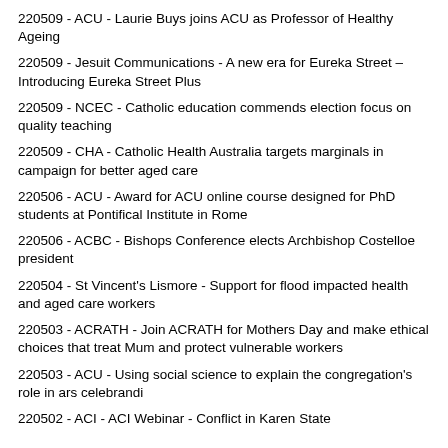220509 - ACU - Laurie Buys joins ACU as Professor of Healthy Ageing
220509 - Jesuit Communications - A new era for Eureka Street – Introducing Eureka Street Plus
220509 - NCEC - Catholic education commends election focus on quality teaching
220509 - CHA - Catholic Health Australia targets marginals in campaign for better aged care
220506 - ACU - Award for ACU online course designed for PhD students at Pontifical Institute in Rome
220506 - ACBC - Bishops Conference elects Archbishop Costelloe president
220504 - St Vincent's Lismore - Support for flood impacted health and aged care workers
220503 - ACRATH - Join ACRATH for Mothers Day and make ethical choices that treat Mum and protect vulnerable workers
220503 - ACU - Using social science to explain the congregation's role in ars celebrandi
220502 - ACI - ACI Webinar - Conflict in Karen State